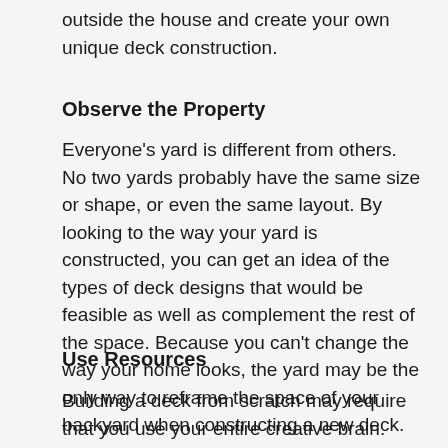outside the house and create your own unique deck construction.
Observe the Property
Everyone’s yard is different from others. No two yards probably have the same size or shape, or even the same layout. By looking to the way your yard is constructed, you can get an idea of the types of deck designs that would be feasible as well as complement the rest of the space. Because you can’t change the way your home looks, the yard may be the only way to reframe the space of your backyard when constructing a new deck.
Use Resources
Building a deck from scratch may require that you use your entire creative brain. Look to the resources